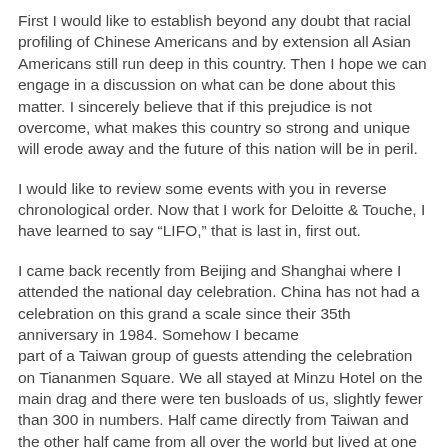First I would like to establish beyond any doubt that racial profiling of Chinese Americans and by extension all Asian Americans still run deep in this country. Then I hope we can engage in a discussion on what can be done about this matter. I sincerely believe that if this prejudice is not overcome, what makes this country so strong and unique will erode away and the future of this nation will be in peril.
I would like to review some events with you in reverse chronological order. Now that I work for Deloitte & Touche, I have learned to say "LIFO," that is last in, first out.
I came back recently from Beijing and Shanghai where I attended the national day celebration. China has not had a celebration on this grand a scale since their 35th anniversary in 1984. Somehow I became part of a Taiwan group of guests attending the celebration on Tiananmen Square. We all stayed at Minzu Hotel on the main drag and there were ten busloads of us, slightly fewer than 300 in numbers. Half came directly from Taiwan and the other half came from all over the world but lived at one time in Taiwan-except me and perhaps a handful of others.